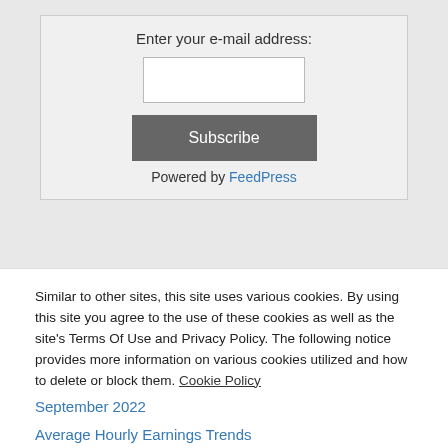Enter your e-mail address:
Subscribe
Powered by FeedPress
Similar to other sites, this site uses various cookies. By using this site you agree to the use of these cookies as well as the site's Terms Of Use and Privacy Policy. The following notice provides more information on various cookies utilized and how to delete or block them. Cookie Policy
Close and accept
September 2022
Average Hourly Earnings Trends